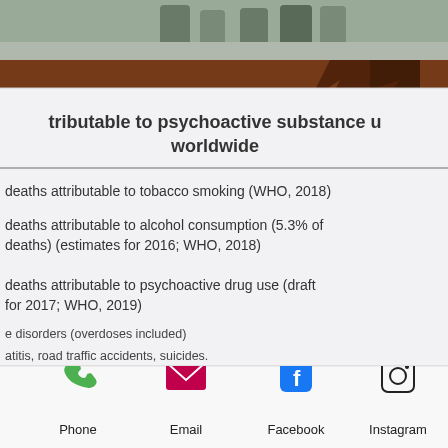[Figure (photo): Top portion of photo showing people in background, cropped at top of page]
[Figure (photo): Photo of a presentation slide on a board with wooden background. Slide title: '...tributable to psychoactive substance u... worldwide'. Content includes: deaths attributable to tobacco smoking (WHO, 2018); deaths attributable to alcohol consumption (5.3% of deaths) (estimates for 2016; WHO, 2018); deaths attributable to psychoactive drug use (draft for 2017; WHO, 2019); e disorders (overdoses included); atitis, road traffic accidents, suicides. WHO logo strip at bottom left with 'ealth ation'. Scroll-up button visible bottom right.]
[Figure (photo): Bottom strip showing top of a person's head/face]
[Figure (infographic): Mobile app bottom navigation bar with Phone (green icon), Email (pink/red envelope icon), Facebook (blue F icon), Instagram (black camera icon)]